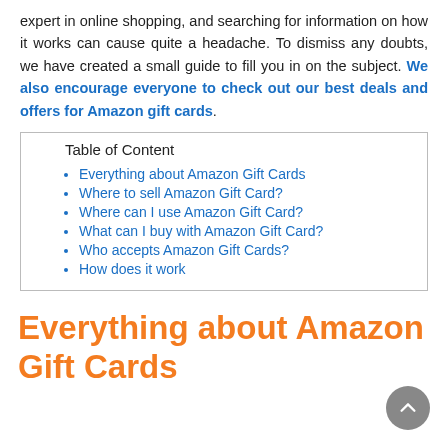expert in online shopping, and searching for information on how it works can cause quite a headache. To dismiss any doubts, we have created a small guide to fill you in on the subject. We also encourage everyone to check out our best deals and offers for Amazon gift cards.
| Table of Content |
| --- |
| Everything about Amazon Gift Cards |
| Where to sell Amazon Gift Card? |
| Where can I use Amazon Gift Card? |
| What can I buy with Amazon Gift Card? |
| Who accepts Amazon Gift Cards? |
| How does it work |
Everything about Amazon Gift Cards